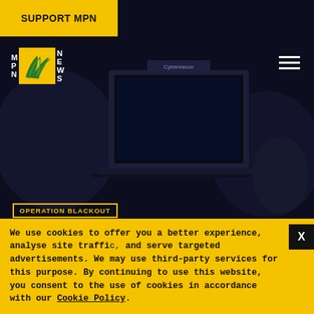SUPPORT MPN
[Figure (logo): MPN News logo with yellow flame graphic]
[Figure (photo): Dark moody image of a laptop with Cybereason branding on screen in dark background]
OPERATION BLACKOUT
WHY A SHADOWY TECH FIRM WITH TIES TO ISRAELI INTELLIGENCE IS RUNNING
We use cookies to offer you a better experience, analyse site traffic, and serve targeted advertisements. We may use third-party services for this purpose. By continuing to use this website, you consent to the use of cookies in accordance with our Cookie Policy.